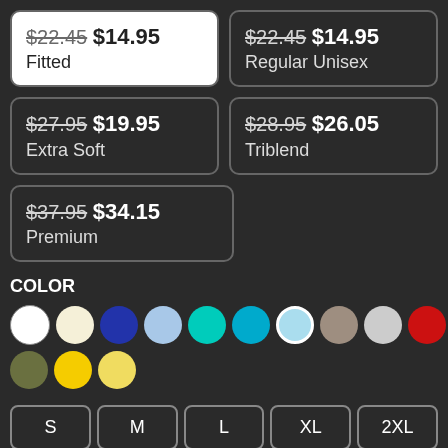$22.45 $14.95 Fitted
$22.45 $14.95 Regular Unisex
$27.95 $19.95 Extra Soft
$28.95 $26.05 Triblend
$37.95 $34.15 Premium
COLOR
[Figure (other): Color swatches: white, cream, dark blue, light blue, teal, cyan, light cyan (selected), taupe, light gray, red, pink, magenta, green, olive, yellow, light yellow]
S
M
L
XL
2XL
The fitted t-shirt is an everyday staple. Features 100% preshrunk